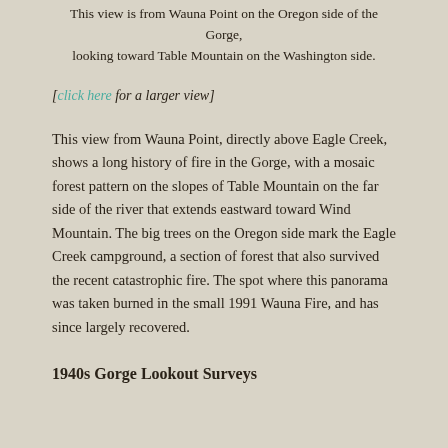This view is from Wauna Point on the Oregon side of the Gorge, looking toward Table Mountain on the Washington side.
[click here for a larger view]
This view from Wauna Point, directly above Eagle Creek, shows a long history of fire in the Gorge, with a mosaic forest pattern on the slopes of Table Mountain on the far side of the river that extends eastward toward Wind Mountain. The big trees on the Oregon side mark the Eagle Creek campground, a section of forest that also survived the recent catastrophic fire. The spot where this panorama was taken burned in the small 1991 Wauna Fire, and has since largely recovered.
1940s Gorge Lookout Surveys